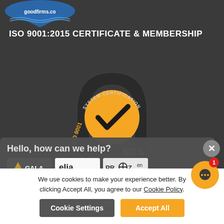[Figure (logo): GoodFirms badge - blue ribbon/shield with goodfirms.co text]
ISO 9001:2015 CERTIFICATE & MEMBERSHIP
[Figure (logo): SGS ISO 9001 System Certification logo - orange circle with checkmark, SGS text, ISO 9001 text]
A MEMBER OF
[Figure (logo): Membership logos: GALA, elia., PROZ, and another association logo]
[Figure (screenshot): Chat popup with Hello, how can we help? header, Gummy Tran agent, just now timestamp]
We use cookies to make your experience better. By clicking Accept All, you agree to our Cookie Policy.
Cookie Settings
Accept All